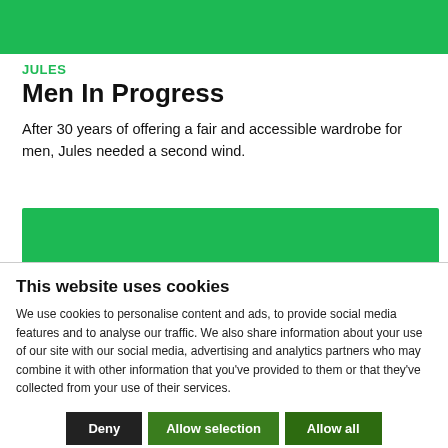[Figure (illustration): Green banner image at top of page (Jules brand image)]
JULES
Men In Progress
After 30 years of offering a fair and accessible wardrobe for men, Jules needed a second wind.
[Figure (illustration): Green mid-page banner image]
This website uses cookies
We use cookies to personalise content and ads, to provide social media features and to analyse our traffic. We also share information about your use of our site with our social media, advertising and analytics partners who may combine it with other information that you've provided to them or that they've collected from your use of their services.
Deny | Allow selection | Allow all
Necessary  Preferences  Statistics  Marketing  Show details